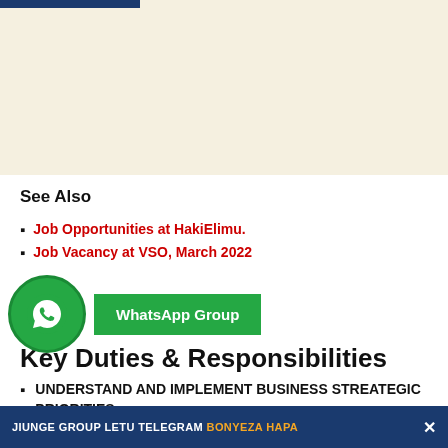[Figure (other): Beige/cream colored advertisement banner area at top of page]
See Also
Job Opportunities at HakiElimu.
Job Vacancy at VSO, March 2022
[Figure (other): WhatsApp Group button overlay with green WhatsApp icon circle on the left and green WhatsApp Group button]
Key Duties & Responsibilities
UNDERSTAND AND IMPLEMENT BUSINESS STREATEGIC PRIORITIES
JIUNGE GROUP LETU TELEGRAM BONYEZA HAPA ×